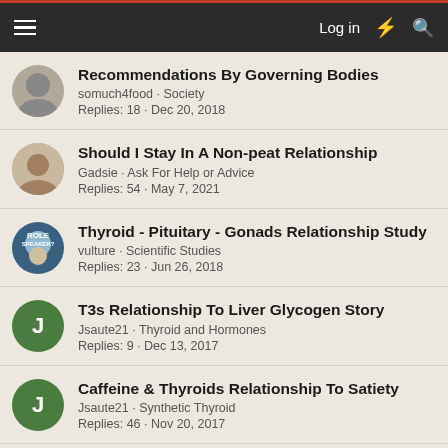Log in
Recommendations By Governing Bodies
somuch4food · Society
Replies: 18 · Dec 20, 2018
Should I Stay In A Non-peat Relationship
Gadsie · Ask For Help or Advice
Replies: 54 · May 7, 2021
Thyroid - Pituitary - Gonads Relationship Study
vulture · Scientific Studies
Replies: 23 · Jun 26, 2018
T3s Relationship To Liver Glycogen Story
Jsaute21 · Thyroid and Hormones
Replies: 9 · Dec 13, 2017
Caffeine & Thyroids Relationship To Satiety
Jsaute21 · Synthetic Thyroid
Replies: 46 · Nov 20, 2017
Sauna Use Has An Inverse Relationship With Fatal